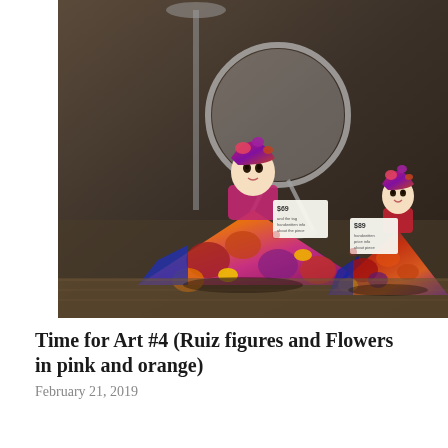[Figure (photo): Two decorative ceramic/papier-mache doll figures in colorful floral dresses with bold red, orange, yellow, blue, and purple patterns. The figures have expressive faces and price tags attached. They are displayed on what appears to be a dark surface with a modern lamp and mirror in the background.]
Time for Art #4 (Ruiz figures and Flowers in pink and orange)
February 21, 2019